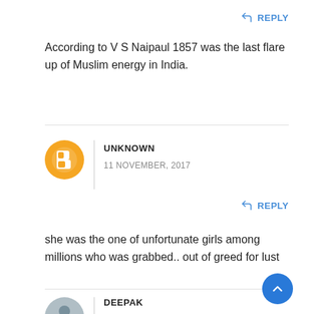REPLY (top button)
According to V S Naipaul 1857 was the last flare up of Muslim energy in India.
UNKNOWN
11 NOVEMBER, 2017
REPLY (second button)
she was the one of unfortunate girls among millions who was grabbed.. out of greed for lust
DEEPAK
10 DECEMBER, 2017